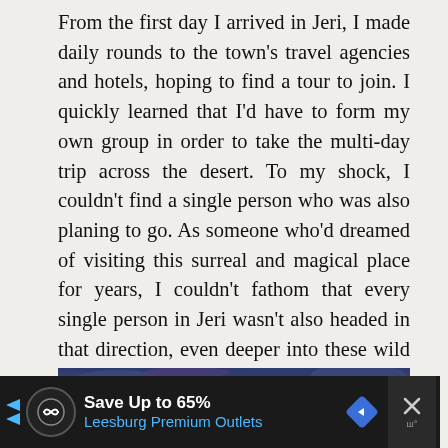From the first day I arrived in Jeri, I made daily rounds to the town's travel agencies and hotels, hoping to find a tour to join. I quickly learned that I'd have to form my own group in order to take the multi-day trip across the desert. To my shock, I couldn't find a single person who was also planing to go. As someone who'd dreamed of visiting this surreal and magical place for years, I couldn't fathom that every single person in Jeri wasn't also headed in that direction, even deeper into these wild dunes.
[Figure (photo): Dramatic sunset sky with deep blue and purple clouds, golden light on the horizon, silhouette of a person standing against the sky]
Save Up to 65% Leesburg Premium Outlets